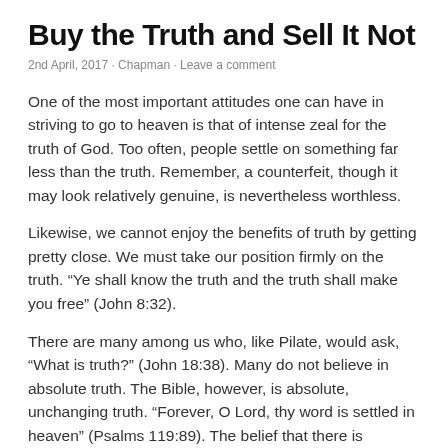Buy the Truth and Sell It Not
2nd April, 2017 · Chapman · Leave a comment
One of the most important attitudes one can have in striving to go to heaven is that of intense zeal for the truth of God. Too often, people settle on something far less than the truth. Remember, a counterfeit, though it may look relatively genuine, is nevertheless worthless.
Likewise, we cannot enjoy the benefits of truth by getting pretty close. We must take our position firmly on the truth. “Ye shall know the truth and the truth shall make you free” (John 8:32).
There are many among us who, like Pilate, would ask, “What is truth?” (John 18:38). Many do not believe in absolute truth. The Bible, however, is absolute, unchanging truth. “Forever, O Lord, thy word is settled in heaven” (Psalms 119:89). The belief that there is absolute truth is fundamental to